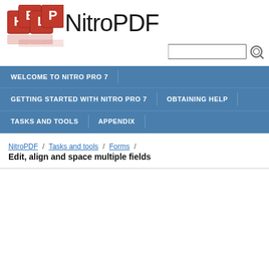[Figure (logo): HELP letter blocks logo in red dice style]
NitroPDF
[Figure (other): Search input box with magnifying glass icon]
WELCOME TO NITRO PRO 7
GETTING STARTED WITH NITRO PRO 7
OBTAINING HELP
TASKS AND TOOLS
APPENDIX
NitroPDF / Tasks and tools / Forms / Edit, align and space multiple fields